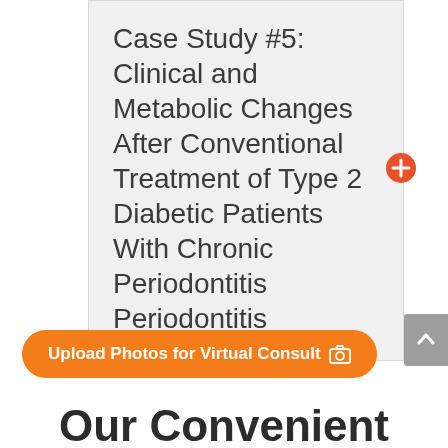Case Study #5: Clinical and Metabolic Changes After Conventional Treatment of Type 2 Diabetic Patients With Chronic Periodontitis Periodontitis
Upload Photos for Virtual Consult
Our Convenient